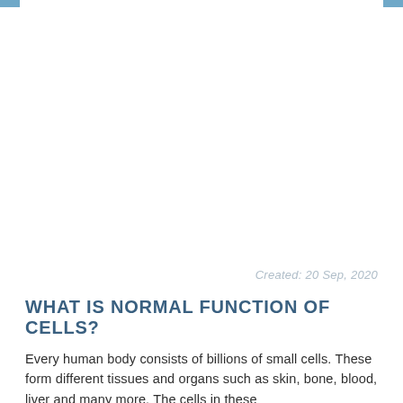Created: 20 Sep, 2020
WHAT IS NORMAL FUNCTION OF CELLS?
Every human body consists of billions of small cells. These form different tissues and organs such as skin, bone, blood, liver and many more. The cells in these